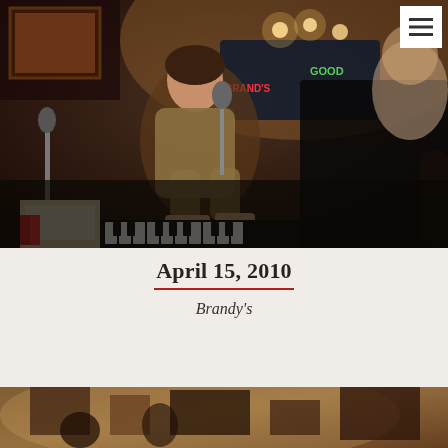[Figure (photo): A musician playing piano and singing into a microphone in a dimly lit bar or club setting. The performer has dark hair and is wearing a light brown shirt. Colorful neon signs and warm lighting visible in the background.]
April 15, 2010
Brandy's
[Figure (photo): A sepia-toned or vintage-look photograph showing a dimly lit interior scene, partially visible at the bottom of the page.]